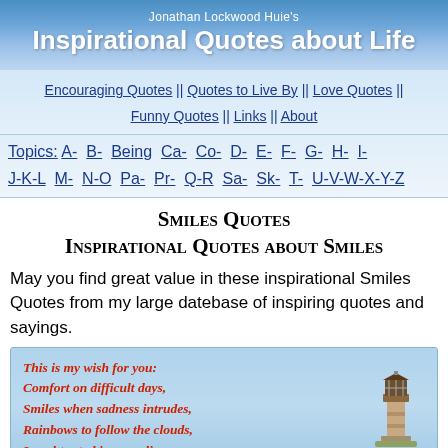Jonathan Lockwood Huie's Inspirational Quotes about Life
Encouraging Quotes || Quotes to Live By || Love Quotes || Funny Quotes || Links || About
Topics: A- B- Being Ca- Co- D- E- F- G- H- I- J-K-L M- N-O Pa- Pr- Q-R Sa- Sk- T- U-V-W-X-Y-Z
Smiles Quotes
Inspirational Quotes about Smiles
May you find great value in these inspirational Smiles Quotes from my large datebase of inspiring quotes and sayings.
[Figure (illustration): Quote box with light blue sky background showing a poem in red bold italic text alongside a lighthouse image. Text reads: This is my wish for you: Comfort on difficult days, Smiles when sadness intrudes, Rainbows to follow the clouds, Laughter to kiss your lips, Sunsets to warm your heart,]